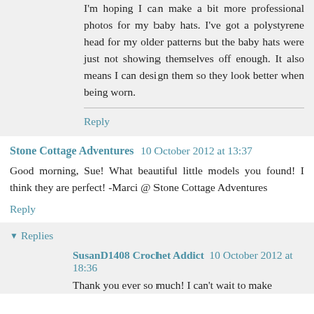I'm hoping I can make a bit more professional photos for my baby hats. I've got a polystyrene head for my older patterns but the baby hats were just not showing themselves off enough. It also means I can design them so they look better when being worn.
Reply
Stone Cottage Adventures  10 October 2012 at 13:37
Good morning, Sue! What beautiful little models you found! I think they are perfect! -Marci @ Stone Cottage Adventures
Reply
Replies
SusanD1408 Crochet Addict  10 October 2012 at 18:36
Thank you ever so much! I can't wait to make